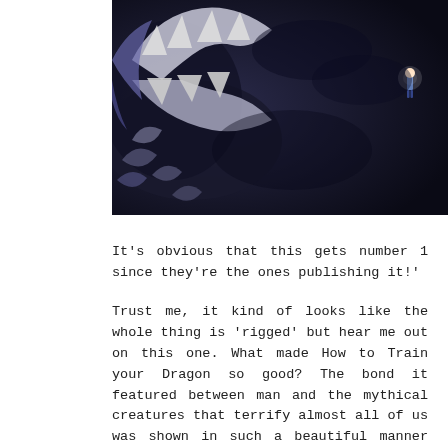[Figure (photo): A dark fantasy scene showing a large dragon with white skeletal or decorative features against a dark background, with a small human figure visible in the right portion of the image.]
It's obvious that this gets number 1 since they're the ones publishing it!'
Trust me, it kind of looks like the whole thing is 'rigged' but hear me out on this one. What made How to Train your Dragon so good? The bond it featured between man and the mythical creatures that terrify almost all of us was shown in such a beautiful manner that it made the movie a favorite in no time. Glacias takes this to unique levels.
Featuring a protagonist with one of the